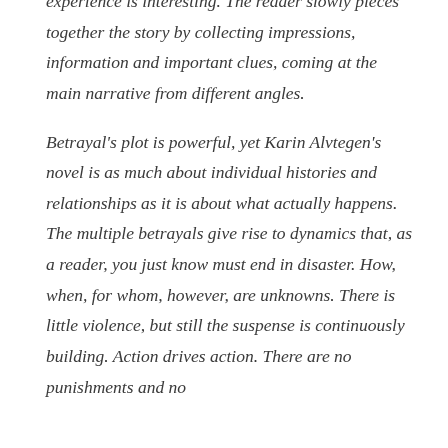experience is interesting. The reader slowly pieces together the story by collecting impressions, information and important clues, coming at the main narrative from different angles.

Betrayal's plot is powerful, yet Karin Alvtegen's novel is as much about individual histories and relationships as it is about what actually happens. The multiple betrayals give rise to dynamics that, as a reader, you just know must end in disaster. How, when, for whom, however, are unknowns. There is little violence, but still the suspense is continuously building. Action drives action. There are no punishments and no